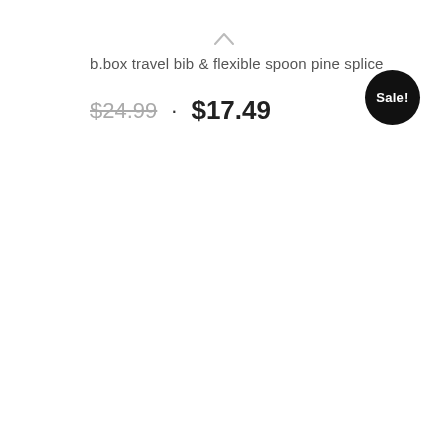b.box travel bib & flexible spoon pine splice
$24.99 · $17.49